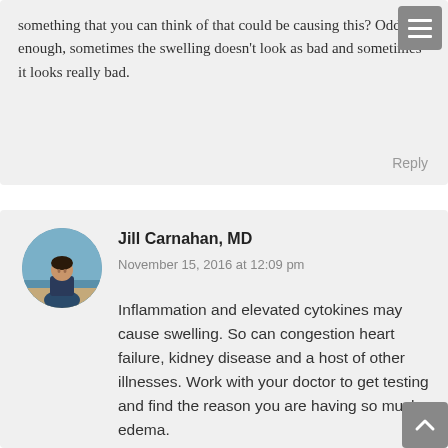something that you can think of that could be causing this? Oddly enough, sometimes the swelling doesn't look as bad and sometimes it looks really bad.
Reply
Jill Carnahan, MD
November 15, 2016 at 12:09 pm
[Figure (photo): Circular avatar photo of Jill Carnahan, MD sitting on a beach in a dark patterned shirt]
Inflammation and elevated cytokines may cause swelling. So can congestion heart failure, kidney disease and a host of other illnesses. Work with your doctor to get testing and find the reason you are having so much edema.